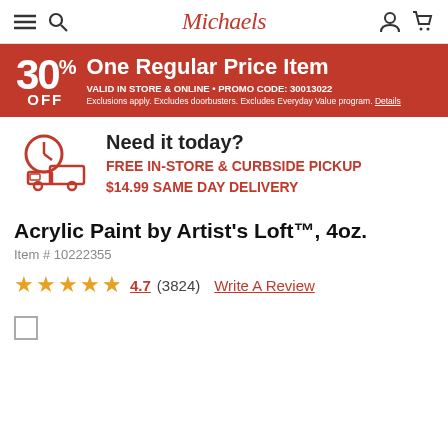Michaels
[Figure (infographic): 30% OFF One Regular Price Item. VALID IN STORE & ONLINE • PROMO CODE: 30013022. Exclusions apply. Excludes doorbusters. Excludes Everyday Value program. Details]
[Figure (infographic): Need it today? FREE IN-STORE & CURBSIDE PICKUP. $14.99 SAME DAY DELIVERY. Icon of a clock and delivery truck.]
Acrylic Paint by Artist's Loft™, 4oz.
Item # 10222355
★★★★★ 4.7 (3824) Write A Review